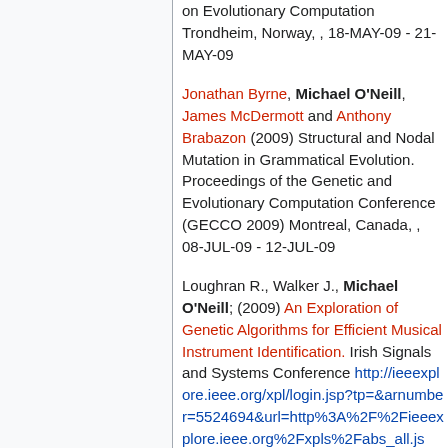on Evolutionary Computation Trondheim, Norway, , 18-MAY-09 - 21-MAY-09
Jonathan Byrne, Michael O'Neill, James McDermott and Anthony Brabazon (2009) Structural and Nodal Mutation in Grammatical Evolution. Proceedings of the Genetic and Evolutionary Computation Conference (GECCO 2009) Montreal, Canada, , 08-JUL-09 - 12-JUL-09
Loughran R., Walker J., Michael O'Neill; (2009) An Exploration of Genetic Algorithms for Efficient Musical Instrument Identification. Irish Signals and Systems Conference http://ieeexplore.ieee.org/xpl/login.jsp?tp=&arnumber=5524694&url=http%3A%2F%2Fieeexplore.ieee.org%2Fxpls%2Fabs_all.jsp%3Farnumber%3D5524694